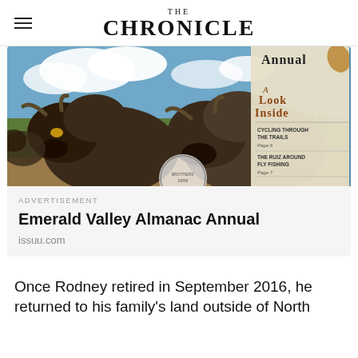THE CHRONICLE
[Figure (photo): Advertisement image showing two bison in a field with a magazine cover overlay for Emerald Valley Almanac Annual, featuring 'A Look Inside' with sections on cycling through the trails (Page 6), The Ruiz Around Fly Fishing (Page 7), and Summiting Mount Pisgah (Page 5).]
ADVERTISEMENT
Emerald Valley Almanac Annual
issuu.com
Once Rodney retired in September 2016, he returned to his family's land outside of North